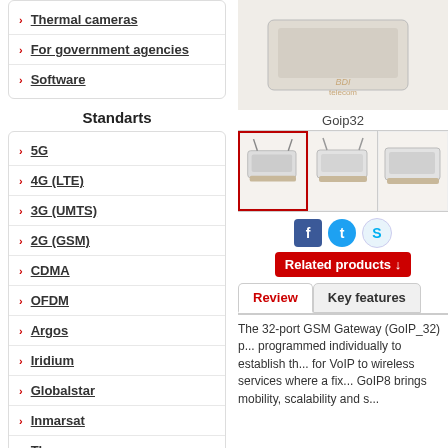Thermal cameras
For government agencies
Software
Standarts
5G
4G (LTE)
3G (UMTS)
2G (GSM)
CDMA
OFDM
Argos
Iridium
Globalstar
Inmarsat
Thuraya
Vsat
GPS
[Figure (photo): Product image top area showing a white telecom device with BDI telecom branding]
Goip32
[Figure (photo): Thumbnail images of GoIP 32-port GSM gateway device from multiple angles, first image selected with red border]
Review
Key features
The 32-port GSM Gateway (GoIP_32) p... programmed individually to establish th... for VoIP to wireless services where a fix... GoIP8 brings mobility, scalability and s...